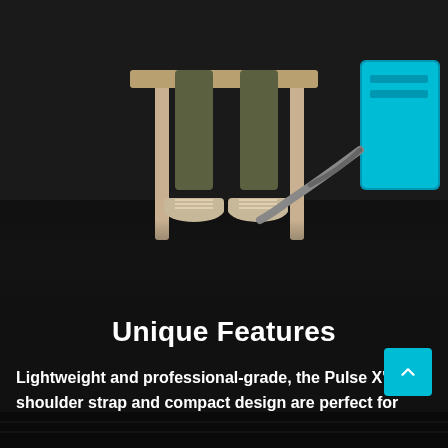[Figure (photo): Person sitting on a stool wearing olive pants and canvas sneakers, with a blue PEMF device unit visible on the right side, dark background]
Unique Features
Lightweight and professional-grade, the Pulse X’s shoulder strap and compact design are perfect for traveling trainers or active professionals. The high-quality components of the Pulse X set it apart as an affordable and straightforward PEMF solution in the wellness industry.